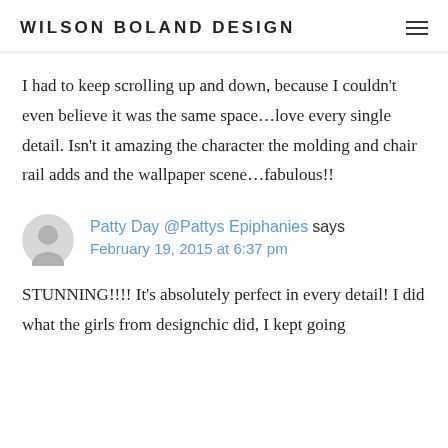WILSON BOLAND DESIGN
I had to keep scrolling up and down, because I couldn't even believe it was the same space…love every single detail. Isn't it amazing the character the molding and chair rail adds and the wallpaper scene…fabulous!!
Patty Day @Pattys Epiphanies says February 19, 2015 at 6:37 pm
STUNNING!!!! It's absolutely perfect in every detail! I did what the girls from designchic did, I kept going